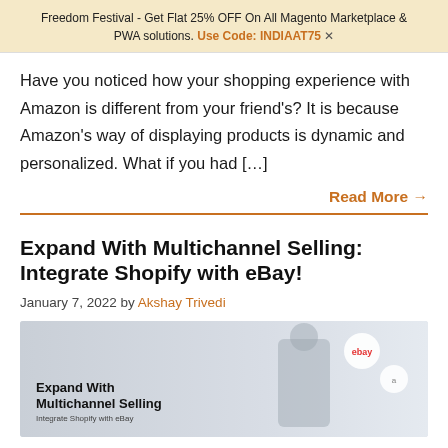Freedom Festival - Get Flat 25% OFF On All Magento Marketplace & PWA solutions. Use Code: INDIAAT75 ✕
Have you noticed how your shopping experience with Amazon is different from your friend's? It is because Amazon's way of displaying products is dynamic and personalized. What if you had [...]
Read More →
Expand With Multichannel Selling: Integrate Shopify with eBay!
January 7, 2022 by Akshay Trivedi
[Figure (illustration): Blog post banner image showing a woman juggling eBay and Amazon logos with text 'Expand With Multichannel Selling']